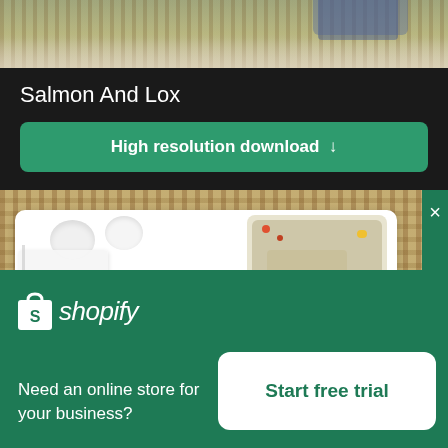[Figure (photo): Top portion of a food/table photo showing wicker mat background]
Salmon And Lox
High resolution download ↓
[Figure (photo): Overhead view of a restaurant meal on a white plate with salad, small bowls, silver balls, shrimp, orange flowers, and sauce on wicker mat]
×
[Figure (logo): Shopify logo - shopping bag icon with S and 'shopify' text in white]
Need an online store for your business?
Start free trial